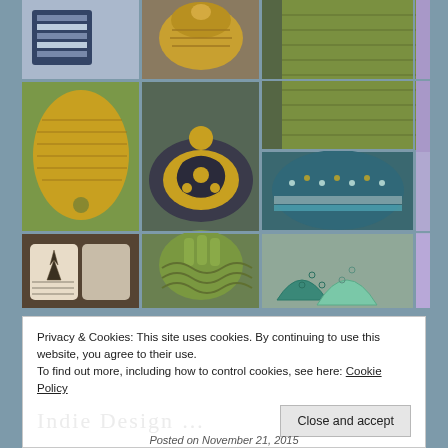[Figure (photo): A collage of knitting/craft project photos arranged in a grid: includes fingerless gloves, hats (including a patterned beanie), scarves/wraps, mitts. Items in yellow/mustard, grey, green, teal, cream, and purple colorways. Multiple rows and columns of craft photos.]
Privacy & Cookies: This site uses cookies. By continuing to use this website, you agree to their use.
To find out more, including how to control cookies, see here: Cookie Policy
Close and accept
Posted on November 21, 2015